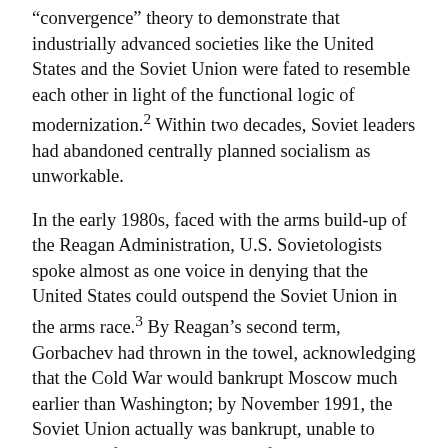“convergence” theory to demonstrate that industrially advanced societies like the United States and the Soviet Union were fated to resemble each other in light of the functional logic of modernization.² Within two decades, Soviet leaders had abandoned centrally planned socialism as unworkable.
In the early 1980s, faced with the arms build-up of the Reagan Administration, U.S. Sovietologists spoke almost as one voice in denying that the United States could outspend the Soviet Union in the arms race.³ By Reagan’s second term, Gorbachev had thrown in the towel, acknowledging that the Cold War would bankrupt Moscow much earlier than Washington; by November 1991, the Soviet Union actually was bankrupt, unable to service its foreign debt or even fund its embassies abroad.
Practically until the end of the Cold War, nearly all U.S. scholars and policymakers accepted as nigh impossible that a superpower like the Soviet Union could allow a non-violent dissolution of its external empire in Eastern Europe, not to mention the disintegration of